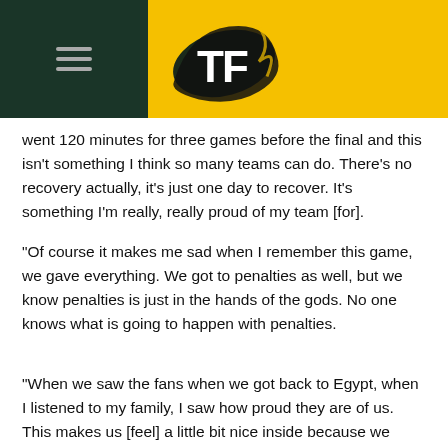[Figure (logo): TF logo with hamburger menu on dark green left panel and yellow background header]
went 120 minutes for three games before the final and this isn't something I think so many teams can do. There's no recovery actually, it's just one day to recover. It's something I'm really, really proud of my team [for].
"Of course it makes me sad when I remember this game, we gave everything. We got to penalties as well, but we know penalties is just in the hands of the gods. No one knows what is going to happen with penalties.
"When we saw the fans when we got back to Egypt, when I listened to my family, I saw how proud they are of us. This makes us [feel] a little bit nice inside because we were broken after the game."